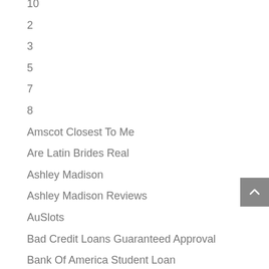10
2
3
5
7
8
Amscot Closest To Me
Are Latin Brides Real
Ashley Madison
Ashley Madison Reviews
AuSlots
Bad Credit Loans Guaranteed Approval
Bank Of America Student Loan